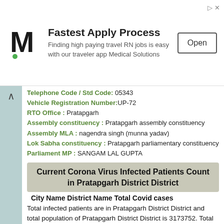[Figure (screenshot): Advertisement banner: M logo, 'Fastest Apply Process', 'Finding high paying travel RN jobs is easy with our traveler app Medical Solutions', Open button]
Telephone Code / Std Code: 05343
Vehicle Registration Number: UP-72
RTO Office : Pratapgarh
Assembly constituency : Pratapgarh assembly constituency
Assembly MLA : nagendra singh (munna yadav)
Lok Sabha constituency : Pratapgarh parliamentary constituency
Parliament MP : SANGAM LAL GUPTA
Current Corona Virus Infected Patients Count in Pratapgarh District District
City Name District Name Total Covid cases
Total infected patients are in Pratapgarh District District and total population of Pratapgarh District District is 3173752. Total Infected Patients in Uttar Pradesh State are .
Marrore Live Weather